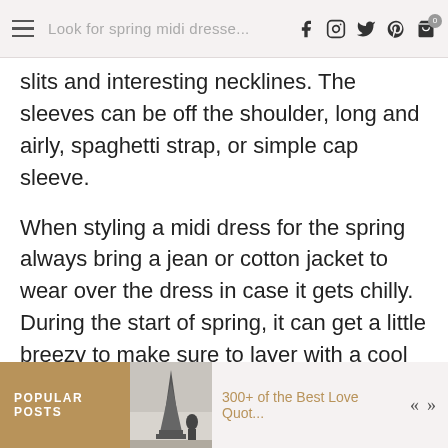Look for spring midi dresse...
slits and interesting necklines. The sleeves can be off the shoulder, long and airly, spaghetti strap, or simple cap sleeve.
When styling a midi dress for the spring always bring a jean or cotton jacket to wear over the dress in case it gets chilly. During the start of spring, it can get a little breezy to make sure to layer with a cool jacket!
POPULAR POSTS  300+ of the Best Love Quot...